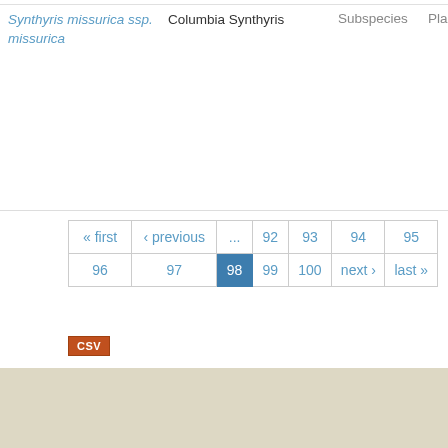| Scientific Name | Common Name | Rank | Type |
| --- | --- | --- | --- |
| Synthyris missurica ssp. missurica | Columbia Synthyris | Subspecies | Plant |
« first ‹ previous ... 92 93 94 95 96 97 98 99 100 next › last »
CSV
[Figure (map): Beige/tan map area at the bottom portion of the page]